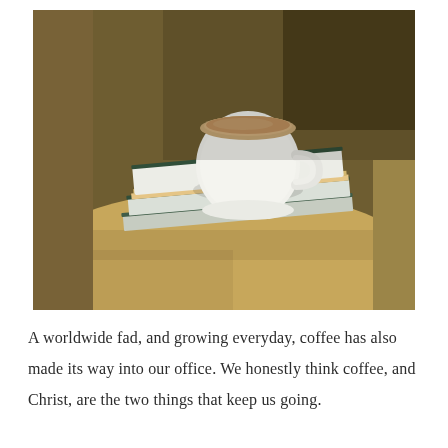[Figure (photo): A white ceramic coffee cup filled with coffee with cream, resting on top of a stack of books or magazines, placed on a tan/caramel leather seat or cushion. The background is warm brown tones.]
A worldwide fad, and growing everyday, coffee has also made its way into our office. We honestly think coffee, and Christ, are the two things that keep us going.